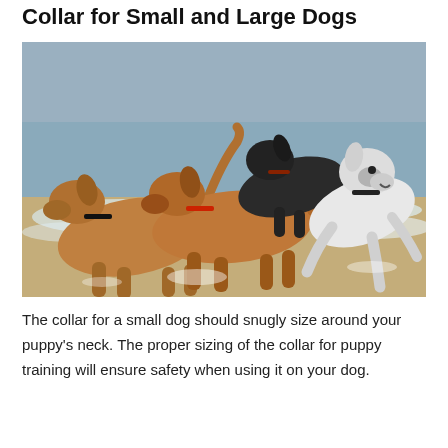Collar for Small and Large Dogs
[Figure (photo): Three dogs playing in the ocean surf at a beach. Two brown/tan dogs and one white dog, all wearing collars, splashing through shallow water.]
The collar for a small dog should snugly size around your puppy's neck. The proper sizing of the collar for puppy training will ensure safety when using it on your dog.